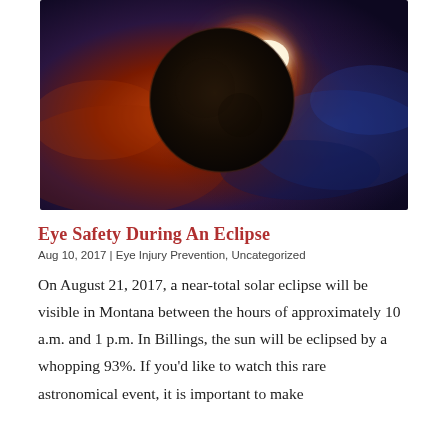[Figure (photo): A dramatic solar eclipse photo showing a dark moon blocking the sun with a bright golden corona ring visible at the upper right edge, against a fiery orange and deep blue cosmic background.]
Eye Safety During An Eclipse
Aug 10, 2017 | Eye Injury Prevention, Uncategorized
On August 21, 2017, a near-total solar eclipse will be visible in Montana between the hours of approximately 10 a.m. and 1 p.m. In Billings, the sun will be eclipsed by a whopping 93%. If you'd like to watch this rare astronomical event, it is important to make